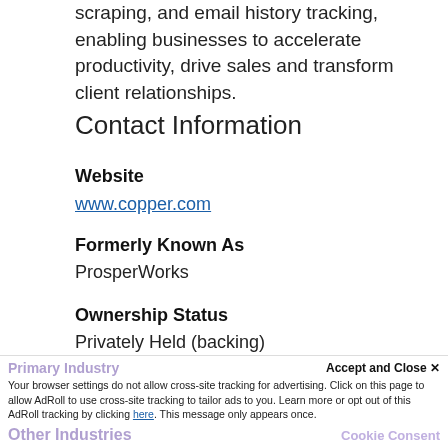scraping, and email history tracking, enabling businesses to accelerate productivity, drive sales and transform client relationships.
Contact Information
Website
www.copper.com
Formerly Known As
ProsperWorks
Ownership Status
Privately Held (backing)
Financing Status
Venture Capital-Backed
Primary Industry
Accept and Close ✕
Your browser settings do not allow cross-site tracking for advertising. Click on this page to allow AdRoll to use cross-site tracking to tailor ads to you. Learn more or opt out of this AdRoll tracking by clicking here. This message only appears once.
Other Industries